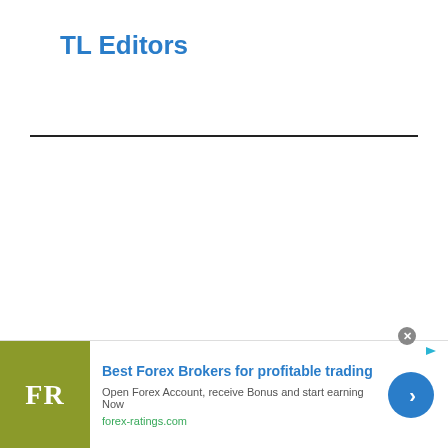TL Editors
[Figure (other): Horizontal divider line separating header from content area]
[Figure (infographic): Advertisement banner for forex-ratings.com: Best Forex Brokers for profitable trading. Open Forex Account, receive Bonus and start earning Now. forex-ratings.com. Shows FR logo in olive/green square, blue call-to-action button with arrow, and close button.]